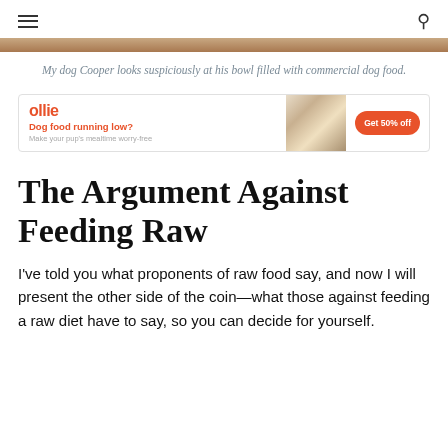≡  🔍
[Figure (photo): Top brown/tan strip representing the top of a dog photo]
My dog Cooper looks suspiciously at his bowl filled with commercial dog food.
[Figure (other): Ollie dog food advertisement banner: 'Dog food running low? Make your pup's mealtime worry-free' with dog image and 'Get 50% off' CTA button]
The Argument Against Feeding Raw
I've told you what proponents of raw food say, and now I will present the other side of the coin—what those against feeding a raw diet have to say, so you can decide for yourself.